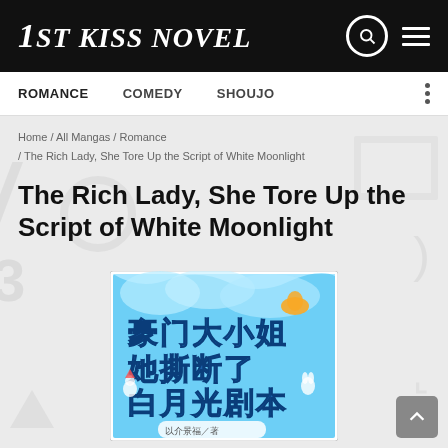1ST KISS NOVEL
ROMANCE   COMEDY   SHOUJO
Home / All Mangas / Romance / The Rich Lady, She Tore Up the Script of White Moonlight
The Rich Lady, She Tore Up the Script of White Moonlight
[Figure (illustration): Book cover with Chinese text reading: 豪门大小姐她撕断了白月光剧本, with cartoon characters on a light blue background. Author: 以介景福／著]